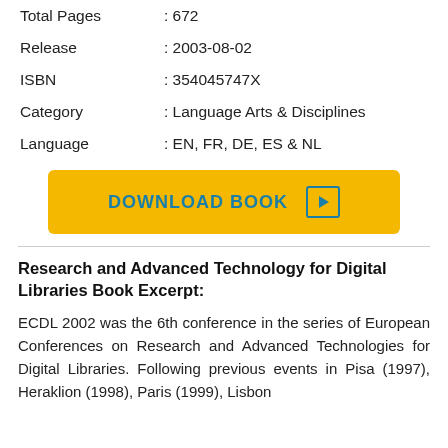| Total Pages | : 672 |
| Release | : 2003-08-02 |
| ISBN | : 354045747X |
| Category | : Language Arts & Disciplines |
| Language | : EN, FR, DE, ES & NL |
[Figure (other): Download Book button with play icon, yellow background, teal text]
Research and Advanced Technology for Digital Libraries Book Excerpt:
ECDL 2002 was the 6th conference in the series of European Conferences on Research and Advanced Technologies for Digital Libraries. Following previous events in Pisa (1997), Heraklion (1998), Paris (1999), Lisbon